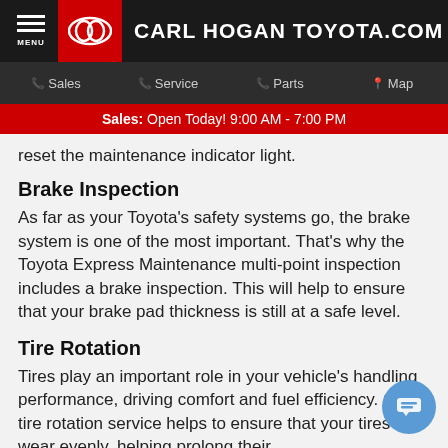MENU | CARL HOGAN TOYOTA.COM
Sales | Service | Parts | Map
Sales: Open Today! 9:00 AM - 7:00 PM
reset the maintenance indicator light.
Brake Inspection
As far as your Toyota's safety systems go, the brake system is one of the most important. That's why the Toyota Express Maintenance multi-point inspection includes a brake inspection. This will help to ensure that your brake pad thickness is still at a safe level.
Tire Rotation
Tires play an important role in your vehicle's handling performance, driving comfort and fuel efficiency. Our tire rotation service helps to ensure that your tires wear evenly, helping prolong their